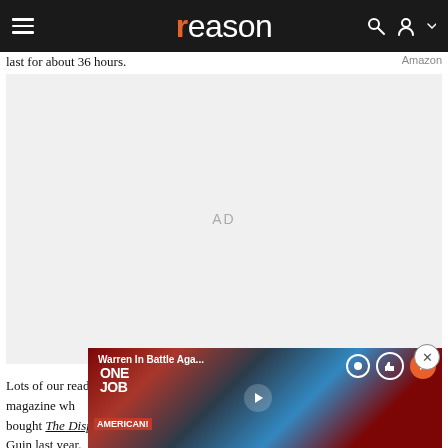reason
last for about 36 hours.
[Figure (other): Advertisement placeholder block with 'AD' label in center]
[Figure (screenshot): Video overlay showing 'Warren In Battle Aga...' with protest signs reading 'ONE JOB' and 'AMERICAN!' with a play button and video controls]
Lots of our read already, which l (?) magazine wh Day. A pleasing bought The Dispossessed by Ursula Le Guin last year.